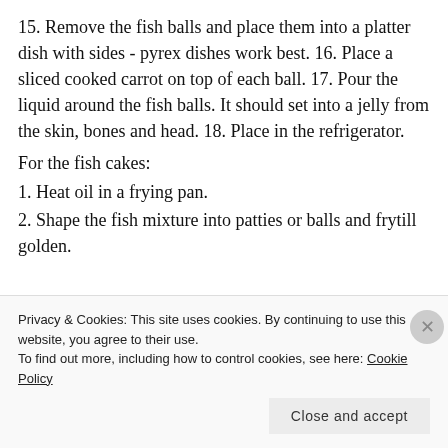15. Remove the fish balls and place them into a platter dish with sides - pyrex dishes work best. 16. Place a sliced cooked carrot on top of each ball. 17. Pour the liquid around the fish balls. It should set into a jelly from the skin, bones and head. 18. Place in the refrigerator.
For the fish cakes:
1. Heat oil in a frying pan.
2. Shape the fish mixture into patties or balls and frytill golden.
Privacy & Cookies: This site uses cookies. By continuing to use this website, you agree to their use.
To find out more, including how to control cookies, see here: Cookie Policy
Close and accept